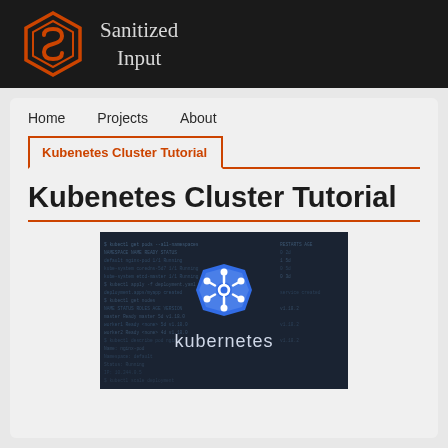Sanitized Input
Kubenetes Cluster Tutorial
Kubenetes Cluster Tutorial
[Figure (screenshot): Kubernetes logo with ship wheel icon on dark background with code/terminal text, with the word 'kubernetes' in white text below]